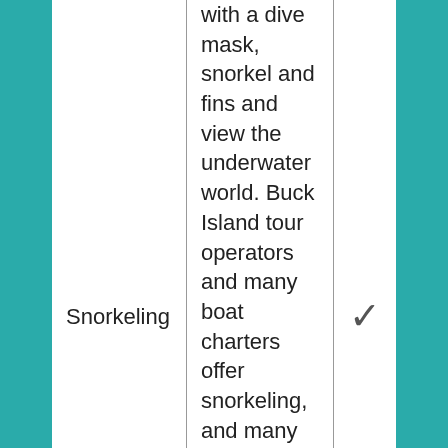| Activity | Description | Check |
| --- | --- | --- |
| Snorkeling | with a dive mask, snorkel and fins and view the underwater world. Buck Island tour operators and many boat charters offer snorkeling, and many places rent snorkel equipment or offer snorkeling tours. | ✓ |
|  | Learn the basics |  |